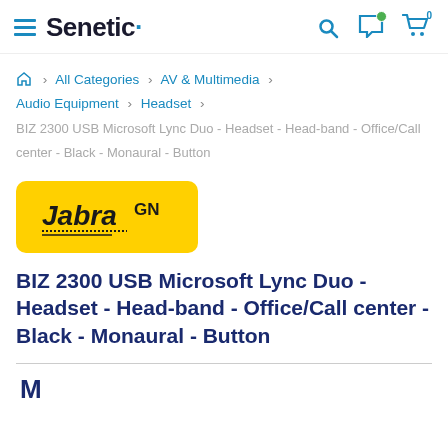Senetic
All Categories > AV & Multimedia > Audio Equipment > Headset
BIZ 2300 USB Microsoft Lync Duo - Headset - Head-band - Office/Call center - Black - Monaural - Button
[Figure (logo): Jabra GN logo in yellow rounded rectangle]
BIZ 2300 USB Microsoft Lync Duo - Headset - Head-band - Office/Call center - Black - Monaural - Button